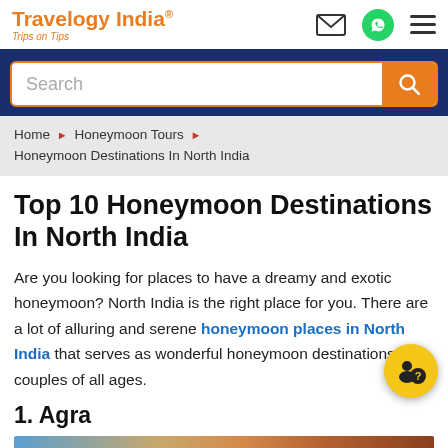Travelogy India® — Trips on Tips
[Figure (screenshot): Search bar with orange border and search icon button]
Home › Honeymoon Tours › Honeymoon Destinations In North India
Top 10 Honeymoon Destinations In North India
Are you looking for places to have a dreamy and exotic honeymoon? North India is the right place for you. There are a lot of alluring and serene honeymoon places in North India that serves as wonderful honeymoon destinations for couples of all ages.
1. Agra
[Figure (photo): Photo of Agra showing architectural landmarks including what appears to be Taj Mahal dome and red sandstone structures]
[Figure (other): Floating chat/help button with person and question mark icon in yellow circle]